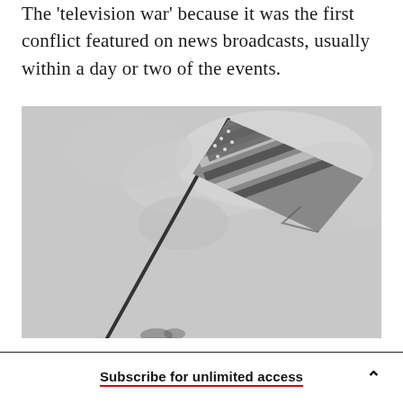The 'television war' because it was the first conflict featured on news broadcasts, usually within a day or two of the events.
[Figure (photo): Black and white photograph of an American flag waving on a pole against a cloudy sky, viewed from below at an angle.]
Subscribe for unlimited access